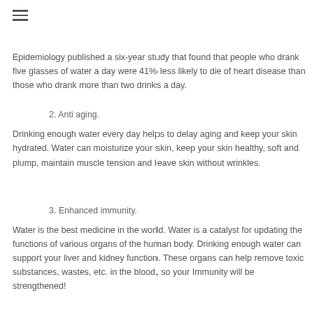Epidemiology published a six-year study that found that people who drank five glasses of water a day were 41% less likely to die of heart disease than those who drank more than two drinks a day.
2. Anti aging.
Drinking enough water every day helps to delay aging and keep your skin hydrated. Water can moisturize your skin, keep your skin healthy, soft and plump, maintain muscle tension and leave skin without wrinkles.
3. Enhanced immunity.
Water is the best medicine in the world. Water is a catalyst for updating the functions of various organs of the human body. Drinking enough water can support your liver and kidney function. These organs can help remove toxic substances, wastes, etc. in the blood, so your Immunity will be strengthened!